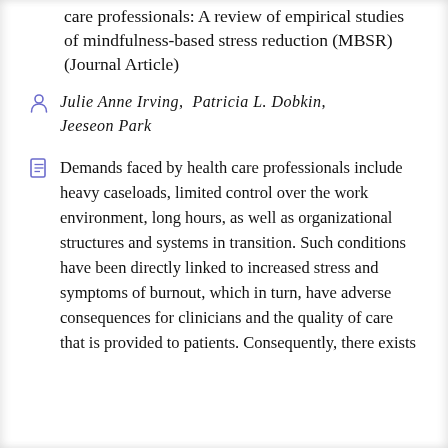care professionals: A review of empirical studies of mindfulness-based stress reduction (MBSR) (Journal Article)
Julie Anne Irving,  Patricia L. Dobkin,  Jeeseon Park
Demands faced by health care professionals include heavy caseloads, limited control over the work environment, long hours, as well as organizational structures and systems in transition. Such conditions have been directly linked to increased stress and symptoms of burnout, which in turn, have adverse consequences for clinicians and the quality of care that is provided to patients. Consequently, there exists